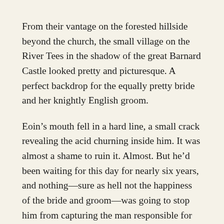From their vantage on the forested hillside beyond the church, the small village on the River Tees in the shadow of the great Barnard Castle looked pretty and picturesque. A perfect backdrop for the equally pretty bride and her knightly English groom.
Eoin’s mouth fell in a hard line, a small crack revealing the acid churning inside him. It was almost a shame to ruin it. Almost. But he’d been waiting for this day for nearly six years, and nothing—sure as hell not the happiness of the bride and groom—was going to stop him from capturing the man responsible for the worst disaster to befall Robert the Bruce in a reign filled